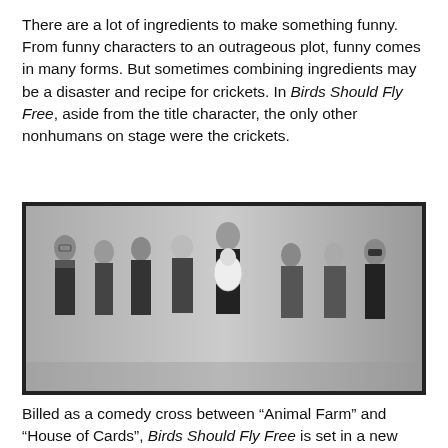There are a lot of ingredients to make something funny. From funny characters to an outrageous plot, funny comes in many forms. But sometimes combining ingredients may be a disaster and recipe for crickets. In Birds Should Fly Free, aside from the title character, the only other nonhumans on stage were the crickets.
[Figure (photo): Black and white promotional photo of a group of eight people standing in a line against a light grey gradient background. The central figure holds a white parrot/cockatoo. The other figures are dressed in formal and semi-formal attire.]
Billed as a comedy cross between “Animal Farm” and “House of Cards”, Birds Should Fly Free is set in a new America where humans and animals live together as the only rights being fought for are animal rights. The play follows science project turned tyrannical parrot Alex as he goes on a Frank Underwood-like journey to become President. On the—